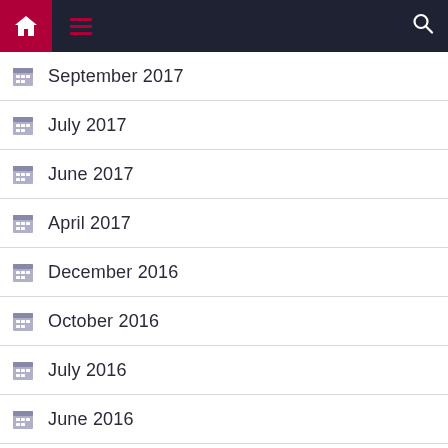Navigation bar with home, menu, and search icons
September 2017
July 2017
June 2017
April 2017
December 2016
October 2016
July 2016
June 2016
May 2016
April 2016